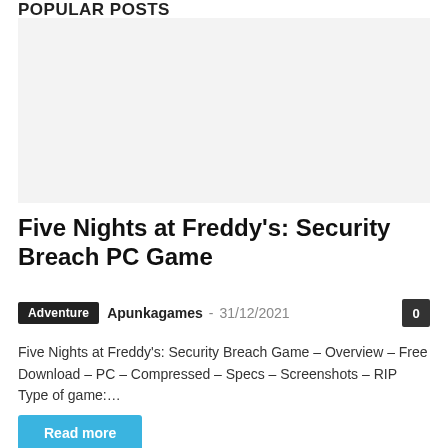POPULAR POSTS
[Figure (photo): Article thumbnail image placeholder (light gray background)]
Five Nights at Freddy's: Security Breach PC Game
Adventure   Apunkagames  -  31/12/2021   0
Five Nights at Freddy's: Security Breach Game – Overview – Free Download – PC – Compressed – Specs – Screenshots – RIP Type of game:…
Read more